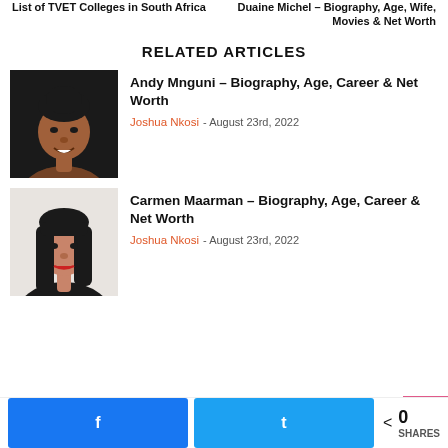List of TVET Colleges in South Africa | Duaine Michel – Biography, Age, Wife, Movies & Net Worth
RELATED ARTICLES
[Figure (photo): Headshot of Andy Mnguni, a woman smiling against a dark background]
Andy Mnguni – Biography, Age, Career & Net Worth
Joshua Nkosi - August 23rd, 2022
[Figure (photo): Headshot of Carmen Maarman, a woman with dark straight hair against a light background]
Carmen Maarman – Biography, Age, Career & Net Worth
Joshua Nkosi - August 23rd, 2022
0 SHARES